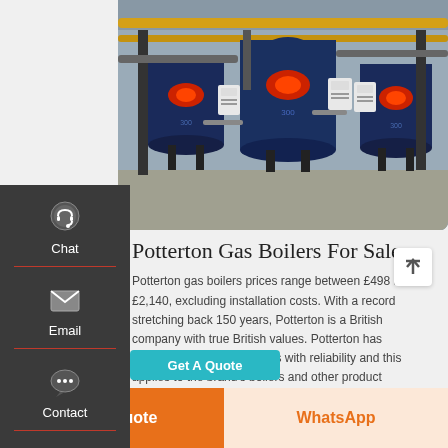[Figure (photo): Industrial boiler room with three large blue gas boilers, yellow pipes, red burners, and white control panels on a grey concrete floor]
Potterton Gas Boilers For Sale
Potterton gas boilers prices range between £498 and £2,140, excluding installation costs. With a record stretching back 150 years, Potterton is a British company with true British values. Potterton has made its name synonymous with reliability and this applies to the brand's boilers and other product ranges, its people and its customer